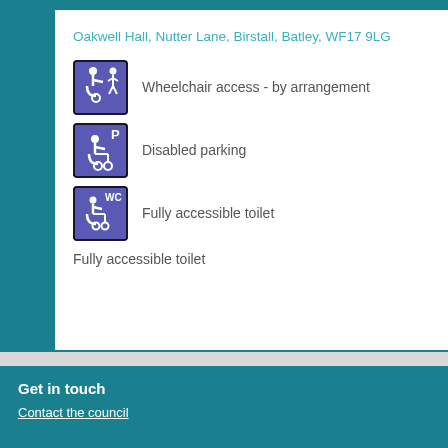Oakwell Hall, Nutter Lane, Birstall, Batley, WF17 9LG
Wheelchair access - by arrangement
Disabled parking
Fully accessible toilet
Fully accessible toilet
Get in touch
Contact the council